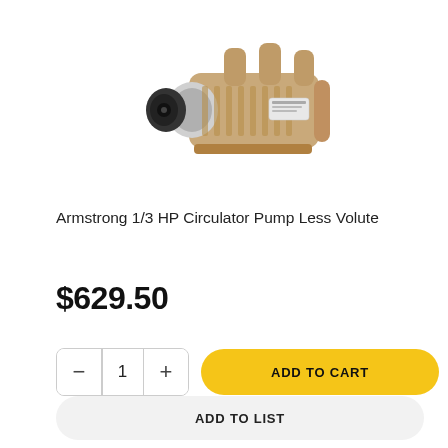[Figure (photo): Armstrong 1/3 HP Circulator Pump Less Volute product photo — a tan/beige metallic pump unit with black coupling on left side, chrome collar, and multiple outlet ports on top]
Armstrong 1/3 HP Circulator Pump Less Volute
$629.50
− 1 +
ADD TO CART
ADD TO LIST